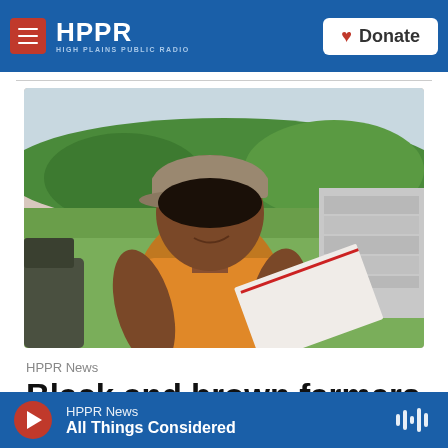HPPR HIGH PLAINS PUBLIC RADIO | Donate
[Figure (photo): A Black woman wearing a tan cap and yellow floral sleeveless top sits outdoors on a farm, looking down at papers. Green trees and fields are visible in the background along with stacked concrete blocks.]
HPPR News
Black and brown farmers say
HPPR News | All Things Considered